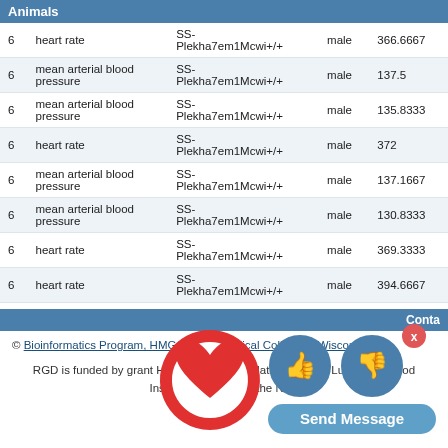Animals
|  |  |  |  |  |
| --- | --- | --- | --- | --- |
| 6 | heart rate | SS-Plekha7em1Mcwi+/+ | male | 366.6667 |
| 6 | mean arterial blood pressure | SS-Plekha7em1Mcwi+/+ | male | 137.5 |
| 6 | mean arterial blood pressure | SS-Plekha7em1Mcwi+/+ | male | 135.8333 |
| 6 | heart rate | SS-Plekha7em1Mcwi+/+ | male | 372 |
| 6 | mean arterial blood pressure | SS-Plekha7em1Mcwi+/+ | male | 137.1667 |
| 6 | mean arterial blood pressure | SS-Plekha7em1Mcwi+/+ | male | 130.8333 |
| 6 | heart rate | SS-Plekha7em1Mcwi+/+ | male | 369.3333 |
| 6 | heart rate | SS-Plekha7em1Mcwi+/+ | male | 394.6667 |
Conta
© Bioinformatics Program, HMGC at the Medical College of Wisconsin
RGD is funded by grant HL64541 from the National Heart, Lung, and Blood Institute on behalf of the NIH.
[Figure (infographic): RGD logo (red heart with globe), thumbs up and thumbs down buttons (blue circles), close X button (red), and Send Message button (blue rounded rectangle)]